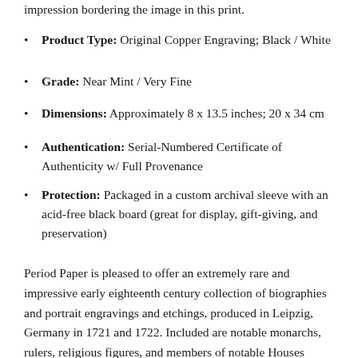impression bordering the image in this print.
Product Type: Original Copper Engraving; Black / White
Grade: Near Mint / Very Fine
Dimensions: Approximately 8 x 13.5 inches; 20 x 34 cm
Authentication: Serial-Numbered Certificate of Authenticity w/ Full Provenance
Protection: Packaged in a custom archival sleeve with an acid-free black board (great for display, gift-giving, and preservation)
Period Paper is pleased to offer an extremely rare and impressive early eighteenth century collection of biographies and portrait engravings and etchings, produced in Leipzig, Germany in 1721 and 1722. Included are notable monarchs, rulers, religious figures, and members of notable Houses throughout Europe, including several genealogical charts of dynastic lines, spanning the sixteenth to early eighteenth centuries. The collection is comprised of exquisitely engraved